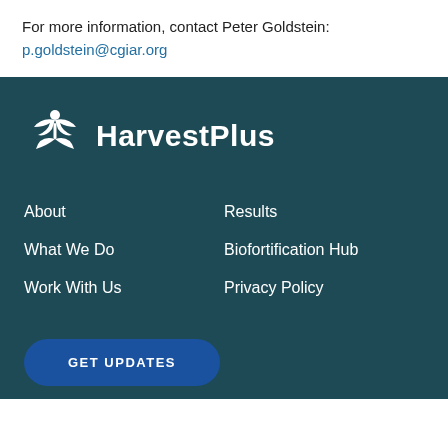For more information, contact Peter Goldstein:
p.goldstein@cgiar.org
[Figure (logo): HarvestPlus logo with white plant/leaf and figure icon on dark teal background, with bold white text 'HarvestPlus']
About
Results
What We Do
Biofortification Hub
Work With Us
Privacy Policy
GET UPDATES